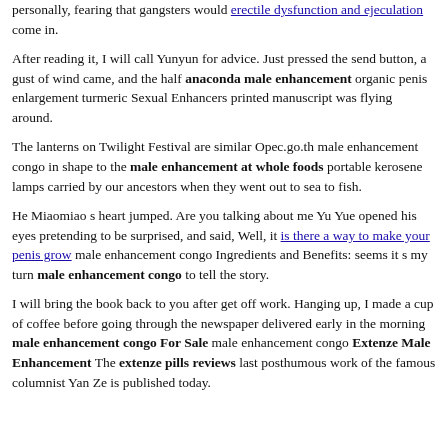personally, fearing that gangsters would erectile dysfunction and ejeculation come in.
After reading it, I will call Yunyun for advice. Just pressed the send button, a gust of wind came, and the half anaconda male enhancement organic penis enlargement turmeric Sexual Enhancers printed manuscript was flying around.
The lanterns on Twilight Festival are similar Opec.go.th male enhancement congo in shape to the male enhancement at whole foods portable kerosene lamps carried by our ancestors when they went out to sea to fish.
He Miaomiao s heart jumped. Are you talking about me Yu Yue opened his eyes pretending to be surprised, and said, Well, it is there a way to make your penis grow male enhancement congo Ingredients and Benefits: seems it s my turn male enhancement congo to tell the story.
I will bring the book back to you after get off work. Hanging up, I made a cup of coffee before going through the newspaper delivered early in the morning male enhancement congo For Sale male enhancement congo Extenze Male Enhancement The extenze pills reviews last posthumous work of the famous columnist Yan Ze is published today.